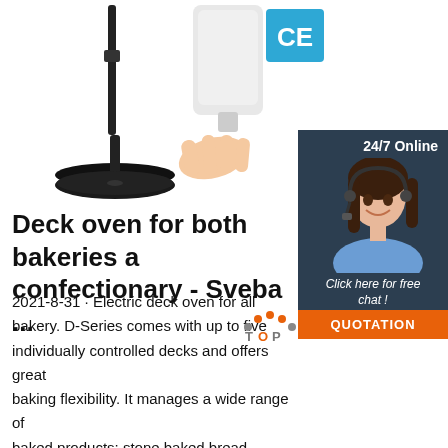[Figure (photo): Microphone stand with round base, black, on white background]
[Figure (logo): FCC certification badge - blue square with FC letters in white]
[Figure (logo): CE certification badge - blue square with CE letters in white]
[Figure (photo): Hand sanitizer dispenser with a hand underneath, white device]
[Figure (infographic): 24/7 Online chat widget with customer service representative woman wearing headset, dark navy background, with 'Click here for free chat!' text and orange QUOTATION button]
[Figure (logo): TOP logo - orange and grey dots forming a mountain/arc shape with TOP text]
Deck oven for both bakeries and confectionary - Sveba ...
2021-8-31 · Electric deck oven for all bakery. D-Series comes with up to five individually controlled decks and offers great baking flexibility. It manages a wide range of baked products; stone baked bread, delicate pastries and more. Even heat distribution, steam system offers a reliable production and amazing